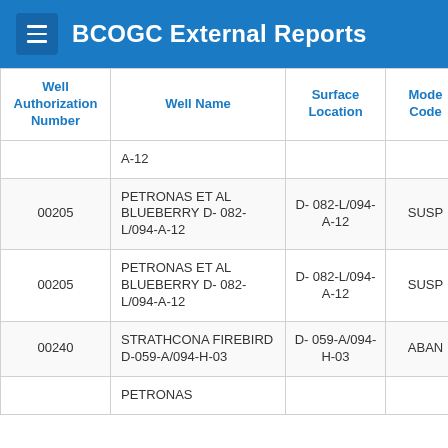BCOGC External Reports
| Well Authorization Number | Well Name | Surface Location | Mode Code | Operations Type | T D |
| --- | --- | --- | --- | --- | --- |
|  | A-12 |  |  |  |  |
| 00205 | PETRONAS ET AL BLUEBERRY D- 082-L/094-A-12 | D- 082-L/094-A-12 | SUSP | PROD | M 2 |
| 00205 | PETRONAS ET AL BLUEBERRY D- 082-L/094-A-12 | D- 082-L/094-A-12 | SUSP | PROD | J 2 |
| 00240 | STRATHCONA FIREBIRD D-059-A/094-H-03 | D- 059-A/094-H-03 | ABAN | UND | M 2 |
|  | PETRONAS |  |  |  |  |